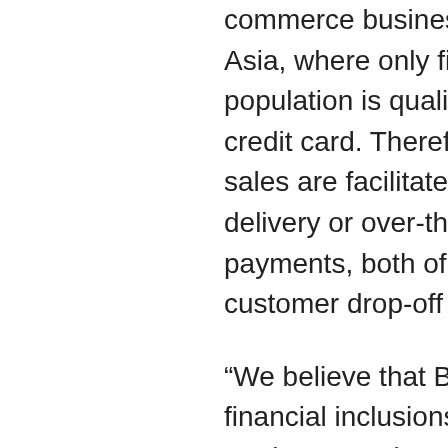commerce businesses in Southeast Asia, where only five per cent of the population is qualified to avail a credit card. Therefore, majority of sales are facilitated through cash-on-delivery or over-the-counter payments, both of which have high customer drop-off rates.
“We believe that Bitcoin will boost financial inclusions in emerging markets, starting with the Philippines and now in Thailand,” said Hose. “Right now, our focus is to increase our user acquisition efforts and continue to expand our product and service offers. The long-